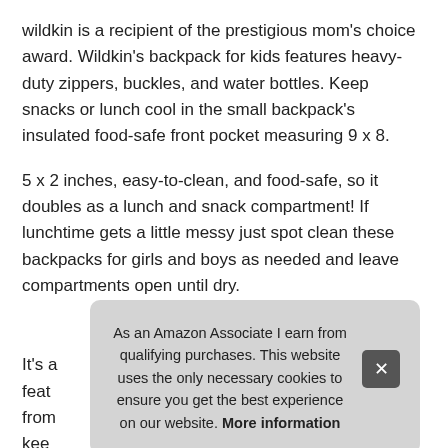wildkin is a recipient of the prestigious mom's choice award. Wildkin's backpack for kids features heavy-duty zippers, buckles, and water bottles. Keep snacks or lunch cool in the small backpack's insulated food-safe front pocket measuring 9 x 8.
5 x 2 inches, easy-to-clean, and food-safe, so it doubles as a lunch and snack compartment! If lunchtime gets a little messy just spot clean these backpacks for girls and boys as needed and leave compartments open until dry.
More information #ad
It's a feat from kee safe access to drinks and water bottles
As an Amazon Associate I earn from qualifying purchases. This website uses the only necessary cookies to ensure you get the best experience on our website. More information